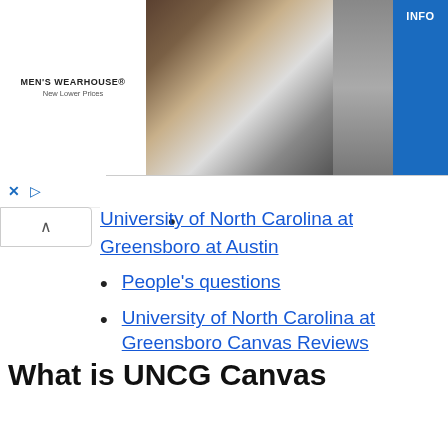[Figure (photo): Men's Wearhouse advertisement banner showing a couple in formal wear and a man in a suit, with an INFO button on the right side]
University of North Carolina at Greensboro at Austin
People's questions
University of North Carolina at Greensboro Canvas Reviews
What is UNCG Canvas